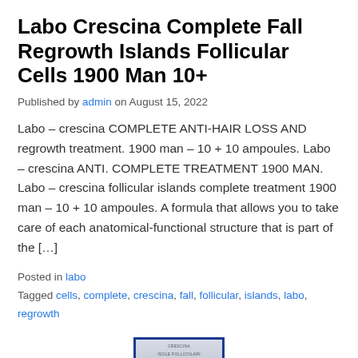Labo Crescina Complete Fall Regrowth Islands Follicular Cells 1900 Man 10+
Published by admin on August 15, 2022
Labo – crescina COMPLETE ANTI-HAIR LOSS AND regrowth treatment. 1900 man – 10 + 10 ampoules. Labo – crescina ANTI. COMPLETE TREATMENT 1900 MAN. Labo – crescina follicular islands complete treatment 1900 man – 10 + 10 ampoules. A formula that allows you to take care of each anatomical-functional structure that is part of the […]
Posted in labo
Tagged cells, complete, crescina, fall, follicular, islands, labo, regrowth
[Figure (photo): Product photo of Labo Crescina ampoules box with blue border]